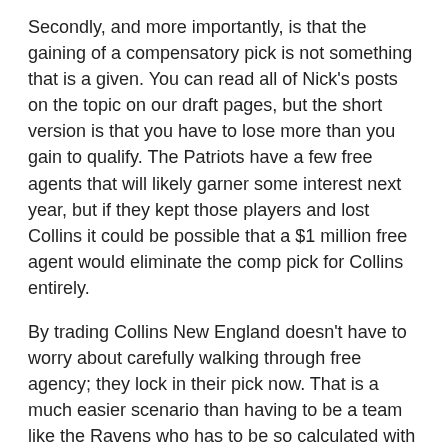Secondly, and more importantly, is that the gaining of a compensatory pick is not something that is a given. You can read all of Nick's posts on the topic on our draft pages, but the short version is that you have to lose more than you gain to qualify. The Patriots have a few free agents that will likely garner some interest next year, but if they kept those players and lost Collins it could be possible that a $1 million free agent would eliminate the comp pick for Collins entirely.
By trading Collins New England doesn't have to worry about carefully walking through free agency; they lock in their pick now. That is a much easier scenario than having to be a team like the Ravens who has to be so calculated with free agent decision or the Packers who just avoid free agency entirely. So these are all reasons why the trade for a 3 makes more sense than waiting for a 3.
For the Browns it is a little harder to see the logic in the move unless they have a deal in place with Collins prior to the trade. The Browns are going nowhere fast and while